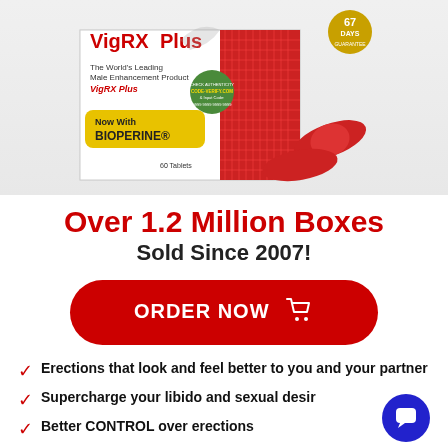[Figure (photo): VigRX Plus product box with red capsules/tablets and a 67-day guarantee seal in the top right corner]
Over 1.2 Million Boxes Sold Since 2007!
[Figure (other): Red ORDER NOW button with shopping cart icon]
Erections that look and feel better to you and your partner
Supercharge your libido and sexual desire
Better CONTROL over erections